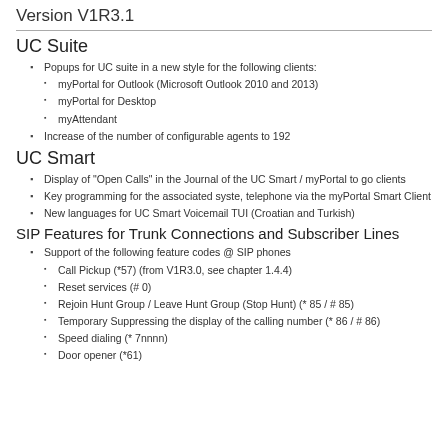Version V1R3.1
UC Suite
Popups for UC suite in a new style for the following clients:
myPortal for Outlook (Microsoft Outlook 2010 and 2013)
myPortal for Desktop
myAttendant
Increase of the number of configurable agents to 192
UC Smart
Display of "Open Calls" in the Journal of the UC Smart / myPortal to go clients
Key programming for the associated syste, telephone via the myPortal Smart Client
New languages for UC Smart Voicemail TUI (Croatian and Turkish)
SIP Features for Trunk Connections and Subscriber Lines
Support of the following feature codes @ SIP phones
Call Pickup (*57) (from V1R3.0, see chapter 1.4.4)
Reset services (# 0)
Rejoin Hunt Group / Leave Hunt Group (Stop Hunt) (* 85 / # 85)
Temporary Suppressing the display of the calling number (* 86 / # 86)
Speed dialing (* 7nnnn)
Door opener (*61)